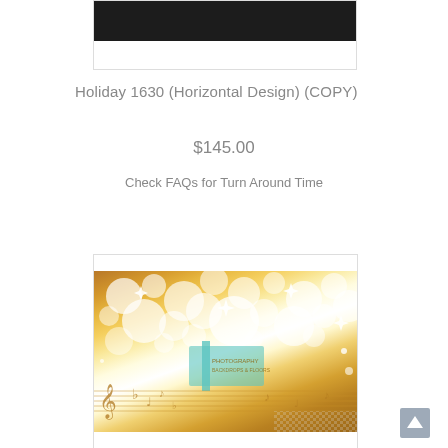[Figure (photo): Top product image placeholder with black bar on top and white space below, bordered with light gray outline]
Holiday 1630 (Horizontal Design) (COPY)
$145.00
Check FAQs for Turn Around Time
[Figure (photo): Holiday backdrop image with golden glittery bokeh sparkles, musical notes and staff lines visible in lower portion, with a watermark/logo in the center area. Warm gold and white tones with soft light effects.]